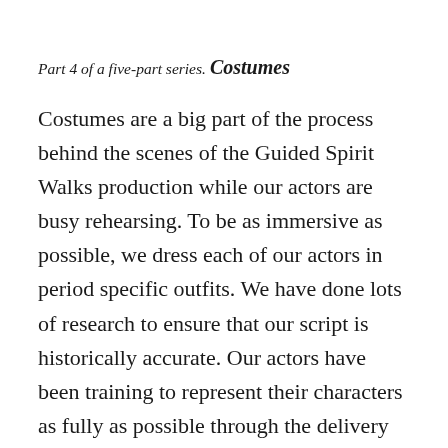Part 4 of a five-part series.
Costumes
Costumes are a big part of the process behind the scenes of the Guided Spirit Walks production while our actors are busy rehearsing. To be as immersive as possible, we dress each of our actors in period specific outfits. We have done lots of research to ensure that our script is historically accurate. Our actors have been training to represent their characters as fully as possible through the delivery of their lines, and